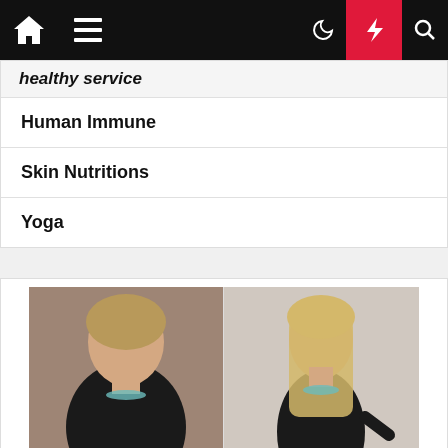Navigation bar with home, menu, moon, bolt, and search icons
healthy service
Human Immune
Skin Nutritions
Yoga
[Figure (photo): Before and after weight loss comparison photo showing two women in black tank tops side by side]